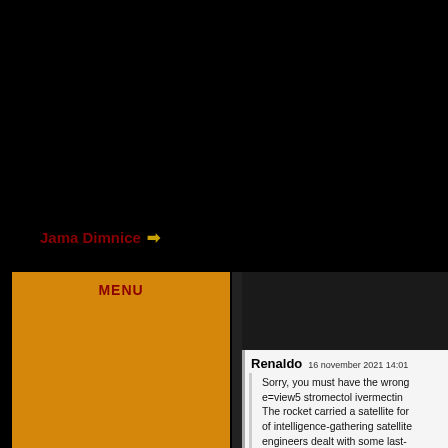Jama Dimnice →
MENU
Renaldo   16 november 2021 14:01
Sorry, you must have the wrong e=view5 stromectol ivermectin The rocket carried a satellite for of intelligence-gathering satellite engineers dealt with some last-